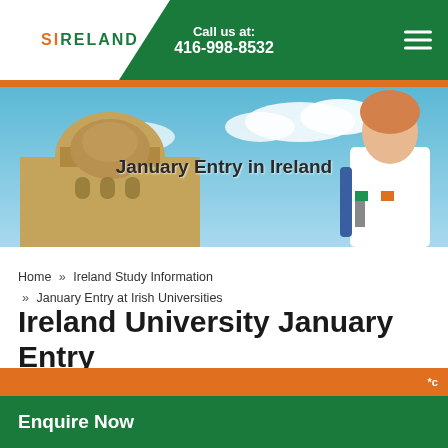SIRELAND | Call us at: 416-998-8532
[Figure (photo): Hero banner showing a university building with dome on the left and a smiling female student holding an Irish flag on the right, against a bright sky background. Text overlay reads 'January Entry in Ireland'.]
Home » Ireland Study Information » January Entry at Irish Universities
Ireland University January Entry
Which universities in Ireland offer January entry?
Enquire Now